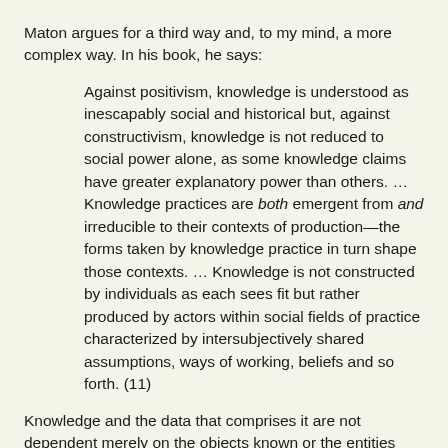Maton argues for a third way and, to my mind, a more complex way. In his book, he says:
Against positivism, knowledge is understood as inescapably social and historical but, against constructivism, knowledge is not reduced to social power alone, as some knowledge claims have greater explanatory power than others. … Knowledge practices are both emergent from and irreducible to their contexts of production—the forms taken by knowledge practice in turn shape those contexts. … Knowledge is not constructed by individuals as each sees fit but rather produced by actors within social fields of practice characterized by intersubjectively shared assumptions, ways of working, beliefs and so forth. (11)
Knowledge and the data that comprises it are not dependent merely on the objects known or the entities that know, but on both, and on the existing body of knowledge with its